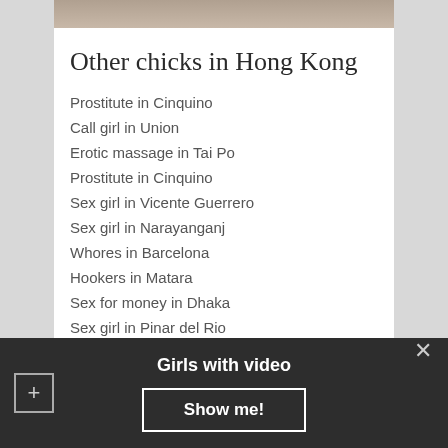[Figure (photo): Partial photo of a person visible at top of content card]
Other chicks in Hong Kong
Prostitute in Cinquino
Call girl in Union
Erotic massage in Tai Po
Prostitute in Cinquino
Sex girl in Vicente Guerrero
Sex girl in Narayanganj
Whores in Barcelona
Hookers in Matara
Sex for money in Dhaka
Sex girl in Pinar del Rio
Brothels in Diekirch
Whores in Mostar
Whores in Kotka
Girls with video
Show me!